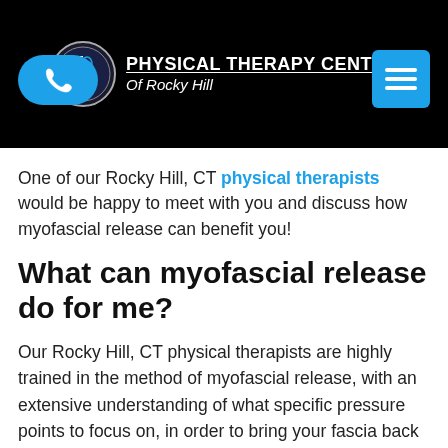[Figure (logo): Physical Therapy Center of Rocky Hill logo with circular emblem and text]
One of our Rocky Hill, CT physical therapists would be happy to meet with you and discuss how myofascial release can benefit you!
What can myofascial release do for me?
Our Rocky Hill, CT physical therapists are highly trained in the method of myofascial release, with an extensive understanding of what specific pressure points to focus on, in order to bring your fascia back to its elastic form.